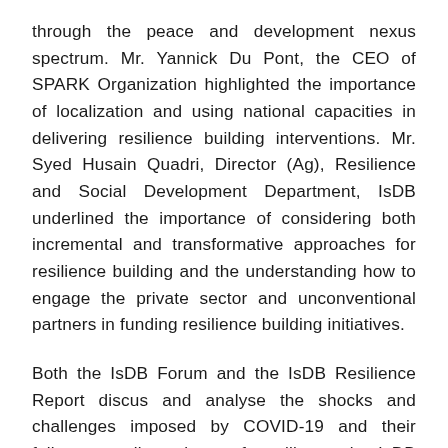through the peace and development nexus spectrum. Mr. Yannick Du Pont, the CEO of SPARK Organization highlighted the importance of localization and using national capacities in delivering resilience building interventions. Mr. Syed Husain Quadri, Director (Ag), Resilience and Social Development Department, IsDB underlined the importance of considering both incremental and transformative approaches for resilience building and the understanding how to engage the private sector and unconventional partners in funding resilience building initiatives.
Both the IsDB Forum and the IsDB Resilience Report discus and analyse the shocks and challenges imposed by COVID-19 and their fallout on dimensions of resilience in IsDB member countries. In this sense, they are very significant in terms of studying the interconnectedness of resilience and the inter-